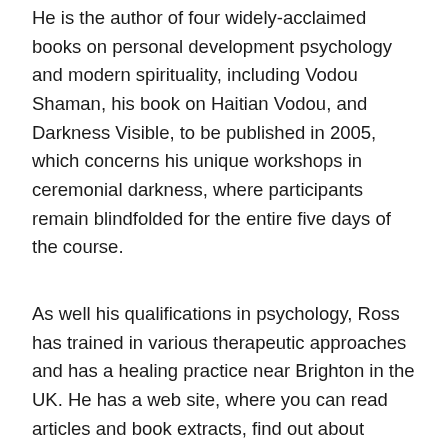He is the author of four widely-acclaimed books on personal development psychology and modern spirituality, including Vodou Shaman, his book on Haitian Vodou, and Darkness Visible, to be published in 2005, which concerns his unique workshops in ceremonial darkness, where participants remain blindfolded for the entire five days of the course.
As well his qualifications in psychology, Ross has trained in various therapeutic approaches and has a healing practice near Brighton in the UK. He has a web site, where you can read articles and book extracts, find out about workshops and catch up on news, at www.VodouShaman.com. He can be reached at ross_heaven@yahoo.com.